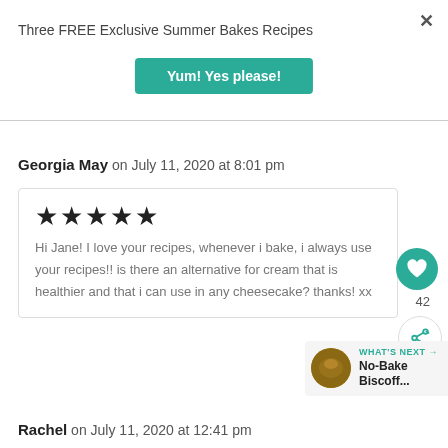Three FREE Exclusive Summer Bakes Recipes
Yum! Yes please!
Georgia May on July 11, 2020 at 8:01 pm
★★★★★
Hi Jane! I love your recipes, whenever i bake, i always use your recipes!! is there an alternative for cream that is healthier and that i can use in any cheesecake? thanks! xx
42
WHAT'S NEXT → No-Bake Biscoff...
Rachel on July 11, 2020 at 12:41 pm